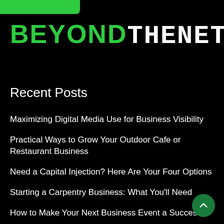[Figure (logo): BeyondTheNet logo with BEYOND in green and THENET in white monospace font on black background]
Recent Posts
Maximizing Digital Media Use for Business Visibility
Practical Ways to Grow Your Outdoor Cafe or Restaurant Business
Need a Capital Injection? Here Are Your Four Options
Starting a Carpentry Business: What You'll Need
How to Make Your Next Business Event a Success